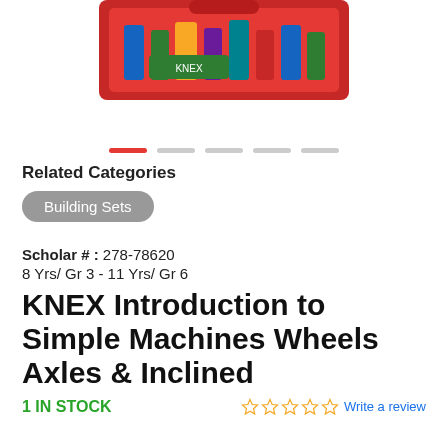[Figure (photo): Product photo of KNEX Introduction to Simple Machines Wheels Axles & Inclined kit in a red carrying case, partially visible at top of page]
[Figure (infographic): Image carousel navigation dots: first dot is red/active, four remaining dots are gray]
Related Categories
Building Sets
Scholar # : 278-78620
8 Yrs/ Gr 3 - 11 Yrs/ Gr 6
KNEX Introduction to Simple Machines Wheels Axles & Inclined
1 IN STOCK
Write a review